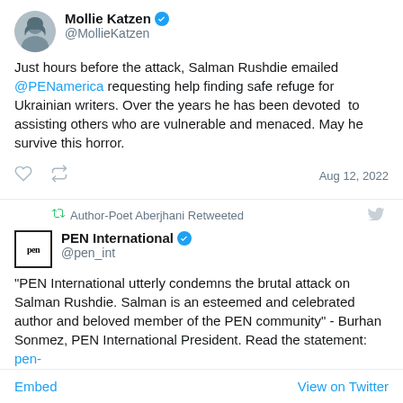[Figure (screenshot): Twitter/social media screenshot showing tweets about Salman Rushdie]
Mollie Katzen @MollieKatzen
Just hours before the attack, Salman Rushdie emailed @PENamerica requesting help finding safe refuge for Ukrainian writers. Over the years he has been devoted to assisting others who are vulnerable and menaced. May he survive this horror.
Aug 12, 2022
Author-Poet Aberjhani Retweeted
PEN International @pen_int
“PEN International utterly condemns the brutal attack on Salman Rushdie. Salman is an esteemed and celebrated author and beloved member of the PEN community” - Burhan Sonmez, PEN International President. Read the statement: pen-
Embed  View on Twitter